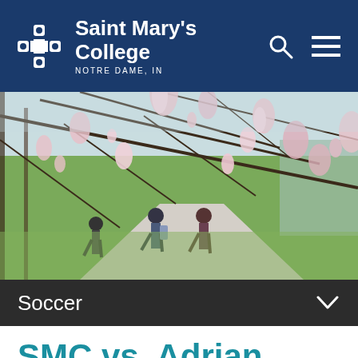Saint Mary's College NOTRE DAME, IN
[Figure (photo): Spring campus photo showing magnolia tree branches with pink blossoms in foreground and students walking on a path with green lawn in background]
Soccer
SMC vs. Adrian